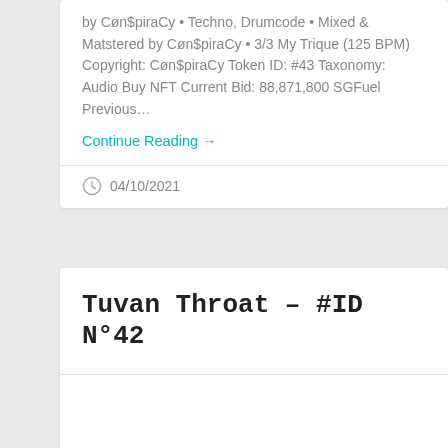by Cøn$piraCy • Techno, Drumcode • Mixed & Matstered by Cøn$piraCy • 3/3 My Trique (125 BPM) Copyright: Cøn$piraCy Token ID: #43 Taxonomy: Audio Buy NFT Current Bid: 88,871,800 SGFuel Previous…
Continue Reading →
04/10/2021
Tuvan Throat – #ID N°42